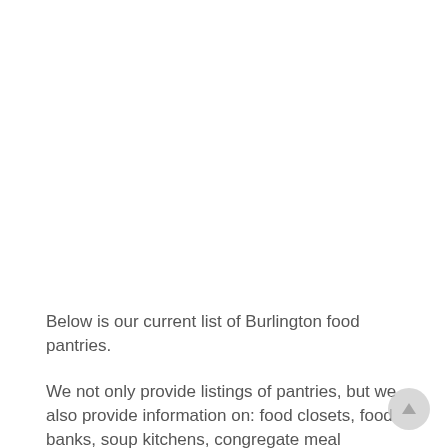Below is our current list of Burlington food pantries.
We not only provide listings of pantries, but we also provide information on: food closets, food banks, soup kitchens, congregate meal locations, food boxes,